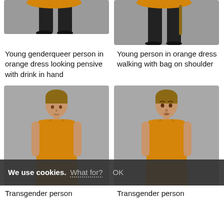[Figure (photo): Cropped photo showing lower legs/feet of a person in black stockings and orange dress against grey background (left top)]
[Figure (photo): Cropped photo showing lower legs/feet of a person in black stockings with a bag against grey background (right top)]
Young genderqueer person in orange dress looking pensive with drink in hand
Young person in orange dress walking with bag on shoulder
[Figure (photo): Full body photo of a transgender person in orange/yellow sleeveless dress looking down, grey background]
[Figure (photo): Full body photo of a transgender person in orange/yellow sleeveless dress looking at camera, grey background]
Transgender person
Transgender person